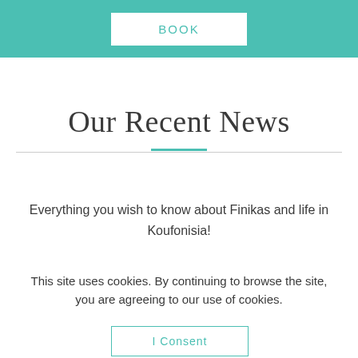BOOK
Our Recent News
Everything you wish to know about Finikas and life in Koufonisia!
This site uses cookies. By continuing to browse the site, you are agreeing to our use of cookies.
I Consent